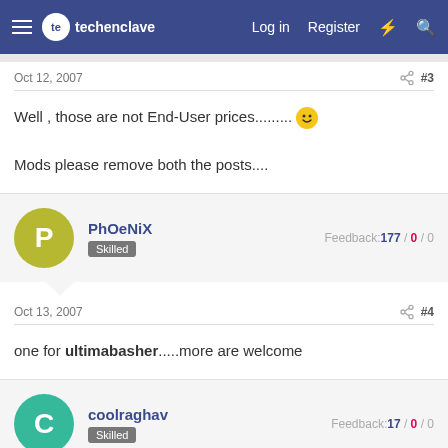techenclave — Log in | Register
Oct 12, 2007   #3
Well , those are not End-User prices.........😀

Mods please remove both the posts....
PhOeNiX   Skilled   Feedback: 177 / 0 / 0
Oct 13, 2007   #4
one for ultimabasher.....more are welcome
coolraghav   Skilled   Feedback: 17 / 0 / 0